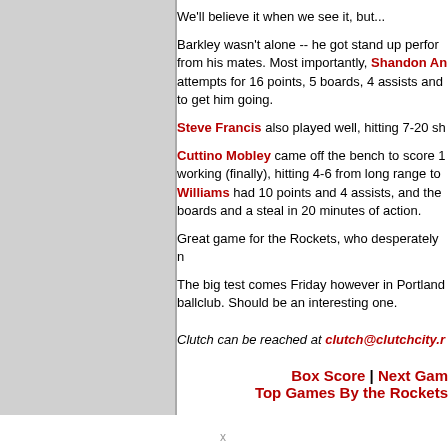We'll believe it when we see it, but...
Barkley wasn't alone -- he got stand up performances from his mates. Most importantly, Shandon Anderson attempts for 16 points, 5 boards, 4 assists and to get him going.
Steve Francis also played well, hitting 7-20 sh...
Cuttino Mobley came off the bench to score 1... working (finally), hitting 4-6 from long range to... Williams had 10 points and 4 assists, and the... boards and a steal in 20 minutes of action.
Great game for the Rockets, who desperately n...
The big test comes Friday however in Portland... ballclub. Should be an interesting one.
Clutch can be reached at clutch@clutchcity.r...
Box Score | Next Game | Top Games By the Rockets